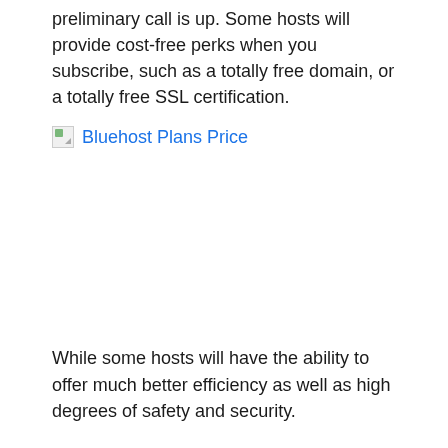preliminary call is up. Some hosts will provide cost-free perks when you subscribe, such as a totally free domain, or a totally free SSL certification.
[Figure (other): Broken image placeholder with link text 'Bluehost Plans Price']
While some hosts will have the ability to offer much better efficiency as well as high degrees of safety and security.
Below we dive deep right into the most effective economical host plan there. You'll discover what core holding features are important in a host as well as exactly how to examine your very